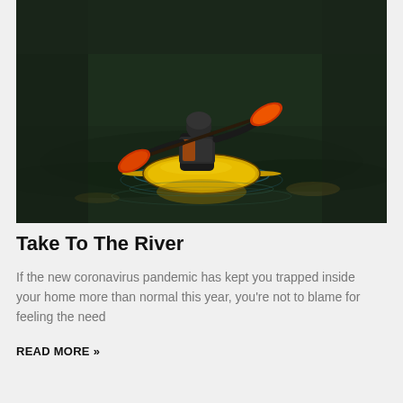[Figure (photo): A person in a yellow kayak paddling on a calm, dark green river. The kayaker wears a black helmet and life jacket and holds an orange-bladed paddle. The water reflects dark greenery.]
Take To The River
If the new coronavirus pandemic has kept you trapped inside your home more than normal this year, you're not to blame for feeling the need
READ MORE »